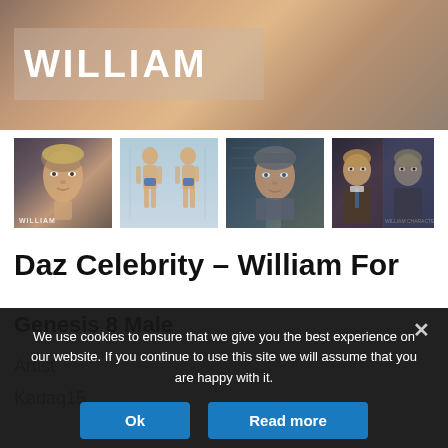[Figure (photo): Hero banner showing a close-up of a male figure's neck/chest area with a semi-transparent overlay panel containing the text WILLIAM in large white bold letters]
[Figure (photo): Row of four thumbnail images: 1) Close-up 3D rendered face of William character with label, 2) Body reference showing two poses front and side in light blue background, 3) Sci-fi/military character render, 4) Business portrait composite]
Daz Celebrity – William For
Genesis 8 Male
Artist
Kadaq15
We use cookies to ensure that we give you the best experience on our website. If you continue to use this site we will assume that you are happy with it.